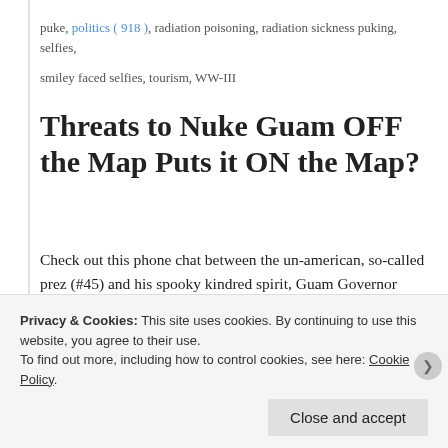puke, politics ( 918 ), radiation poisoning, radiation sickness puking, selfies,
smiley faced selfies, tourism, WW-III
Threats to Nuke Guam OFF the Map Puts it ON the Map?
Check out this phone chat between the un-american, so-called prez (#45) and his spooky kindred spirit, Guam Governor Eddie Calvo.
Admittedly, the schoolboy giggle-fest vid... below... even clocking out at a paltry 3:18... is still a YUGE [sic] waste of
Privacy & Cookies: This site uses cookies. By continuing to use this website, you agree to their use.
To find out more, including how to control cookies, see here: Cookie Policy
Close and accept